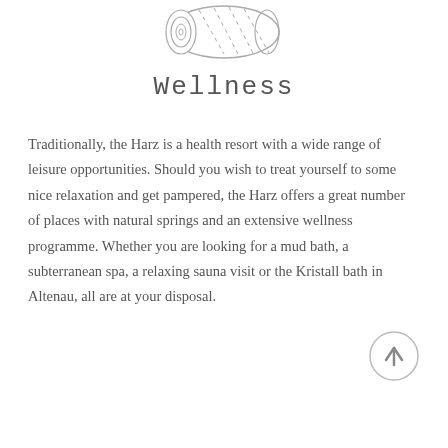[Figure (illustration): Hand-drawn illustration of a rolled yoga mat or towel viewed from the end, showing concentric circles and diagonal lines suggesting texture.]
Wellness
Traditionally, the Harz is a health resort with a wide range of leisure opportunities. Should you wish to treat yourself to some nice relaxation and get pampered, the Harz offers a great number of places with natural springs and an extensive wellness programme. Whether you are looking for a mud bath, a subterranean spa, a relaxing sauna visit or the Kristall bath in Altenau, all are at your disposal.
[Figure (illustration): Circular back-to-top button with an upward-pointing arrow, grey outline with grey arrow symbol inside.]